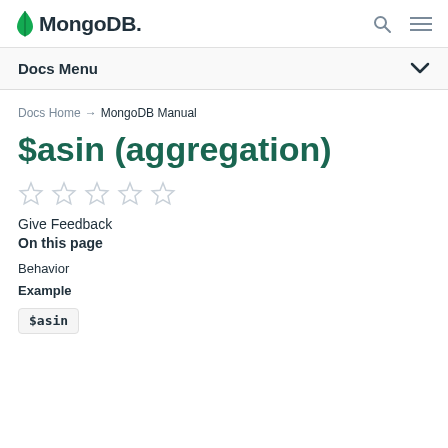MongoDB - Docs Menu
Docs Home → MongoDB Manual
$asin (aggregation)
[Figure (other): Five empty star rating icons in a row]
Give Feedback
On this page
Behavior
Example
$asin